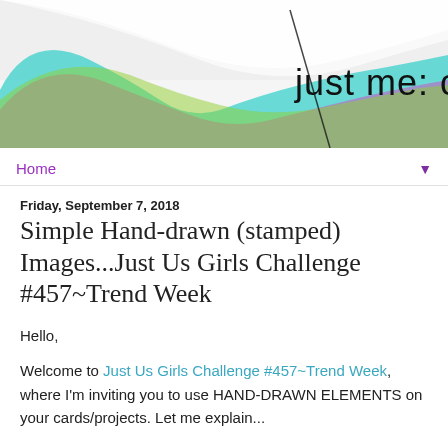[Figure (illustration): Blog header banner with colorful swirling wave design in teal, green, purple, and pink on a white/grey background. Text reads 'just me: c' in thin black font on the right side.]
Home ▼
Friday, September 7, 2018
Simple Hand-drawn (stamped) Images...Just Us Girls Challenge #457~Trend Week
Hello,
Welcome to Just Us Girls Challenge #457~Trend Week, where I'm inviting you to use HAND-DRAWN ELEMENTS on your cards/projects. Let me explain...